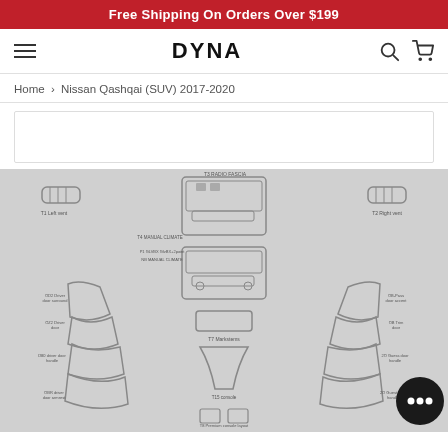Free Shipping On Orders Over $199
DYNA
Home › Nissan Qashqai (SUV) 2017-2020
[Figure (engineering-diagram): Technical exploded-view diagram of Nissan Qashqai (SUV) 2017-2020 interior trim kit parts, showing labeled components including left and right vents, radio fascia, manual climate control, navigation unit, door handle surrounds, door trim panels, gear shift trim, steering column covers, and floor console pieces arranged on a grey background.]